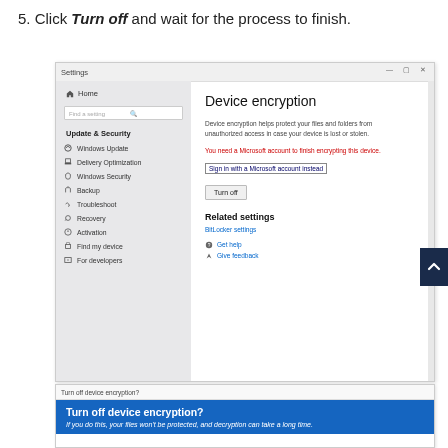5. Click Turn off and wait for the process to finish.
[Figure (screenshot): Windows 10 Settings window showing Device encryption page with sidebar navigation (Home, Update & Security, Windows Update, Delivery Optimization, Windows Security, Backup, Troubleshoot, Recovery, Activation, Find my device, For developers), main content area showing Device encryption heading, description text, red error about Microsoft account, Sign in link, Turn off button, Related settings section with BitLocker settings link, Get help and Give feedback links. A dark navy scroll-to-top button is visible on the right edge.]
[Figure (screenshot): Dialog box titled 'Turn off device encryption?' with blue background showing title 'Turn off device encryption?' and subtitle 'If you do this, your files won't be protected, and decryption can take a long time.']